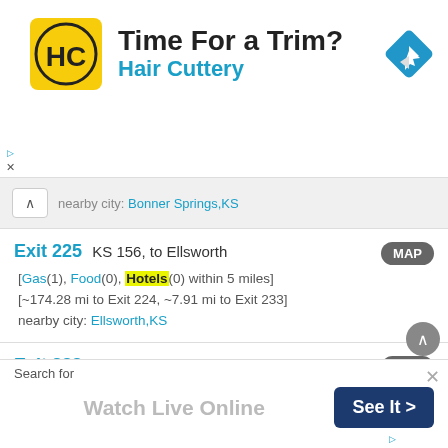[Figure (infographic): Hair Cuttery advertisement banner with logo (HC in yellow circle), headline 'Time For a Trim?', subheadline 'Hair Cuttery', and a blue navigation/directions diamond icon on the right.]
nearby city: Bonner Springs,KS
Exit 225  KS 156, to Ellsworth
[Gas(1), Food(0), Hotels(0) within 5 miles]
[~174.28 mi to Exit 224, ~7.91 mi to Exit 233]
nearby city: Ellsworth,KS
Exit 233  to Beverly, Juniata No Services
[Gas(1), Food(1), Hotels(0) within 5 miles]
[~7.91 mi to Exit 225, ~4.97 mi to Exit 238]
nearby city: Brookville,KS
Exit 238  to Brookville, Glendale, Tescott No
[Figure (infographic): Bottom advertisement banner with 'Search for' label, 'Watch Live Online' text, a 'See It >' button in dark blue, and a close X button.]